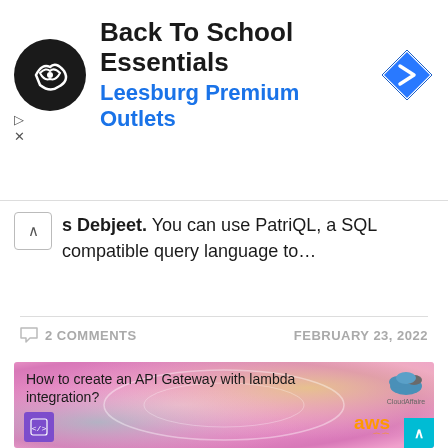[Figure (screenshot): Advertisement banner for Back To School Essentials at Leesburg Premium Outlets with circular dark logo and blue navigation arrow icon]
Back To School Essentials
Leesburg Premium Outlets
s Debjeet. You can use PatriQL, a SQL compatible query language to…
2 COMMENTS
FEBRUARY 23, 2022
[Figure (screenshot): Article thumbnail image with pink abstract paint background showing text: How to create an API Gateway with lambda integration? with AWS logo and CloudAffaire branding]